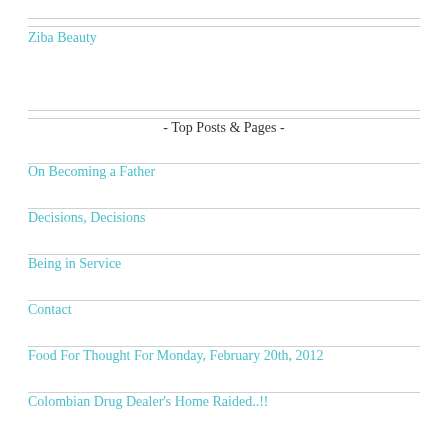Ziba Beauty
- Top Posts & Pages -
On Becoming a Father
Decisions, Decisions
Being in Service
Contact
Food For Thought For Monday, February 20th, 2012
Colombian Drug Dealer's Home Raided..!!